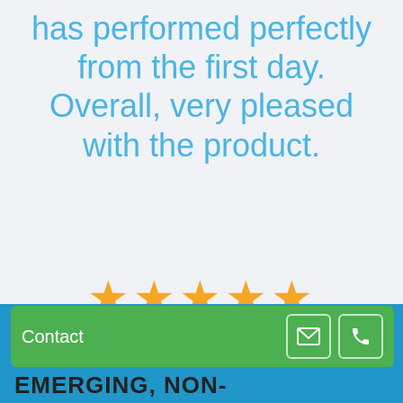has performed perfectly from the first day. Overall, very pleased with the product.
[Figure (infographic): Five gold/yellow filled stars rating]
Frank L – Los Gatos, CA
Contact | EMERGING, NON-